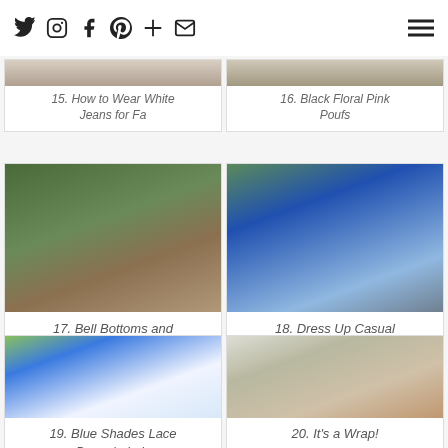Social icons: Twitter, Instagram, Facebook, Pinterest, Google+, Email; Hamburger menu
15. How to Wear White Jeans for Fa
16. Black Floral Pink Poufs
[Figure (photo): Woman in floral bell bottom pants and fringe top on a path with trees]
17. Bell Bottoms and Fringe
[Figure (photo): Woman in blue top and jeans outdoors]
18. Dress Up Casual Days
[Figure (photo): Woman in blue lace dress holding black bag]
19. Blue Shades Lace Dress | she's
[Figure (photo): Close up of patterned wrap skirt with boots and pink flowers]
20. It's a Wrap!